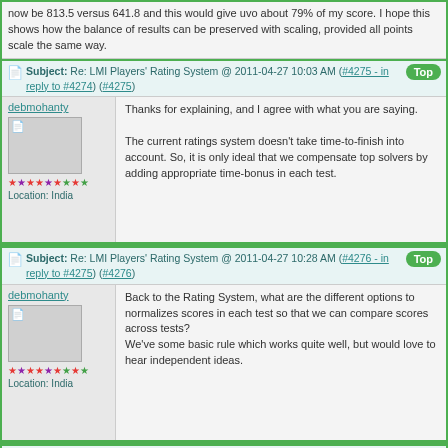now be 813.5 versus 641.8 and this would give uvo about 79% of my score. I hope this shows how the balance of results can be preserved with scaling, provided all points scale the same way.
Subject: Re: LMI Players' Rating System @ 2011-04-27 10:03 AM (#4275 - in reply to #4274) (#4275)
debmohanty
Thanks for explaining, and I agree with what you are saying.

The current ratings system doesn't take time-to-finish into account. So, it is only ideal that we compensate top solvers by adding appropriate time-bonus in each test.
Location: India
Subject: Re: LMI Players' Rating System @ 2011-04-27 10:28 AM (#4276 - in reply to #4275) (#4276)
debmohanty
Back to the Rating System, what are the different options to normalizes scores in each test so that we can compare scores across tests?
We've some basic rule which works quite well, but would love to hear independent ideas.
Location: India
Subject: Re: LMI Players' Rating System @ 2011-04-